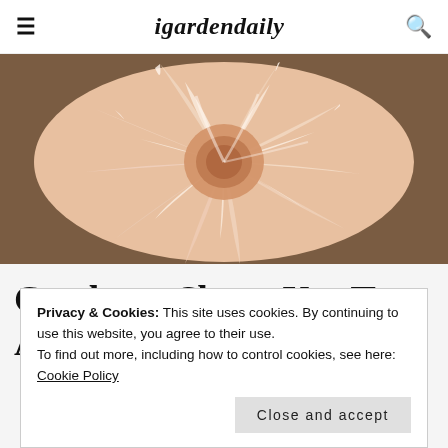igardendaily
[Figure (photo): Close-up of a large peach/cream dahlia flower with layered petals, photographed against a wooden background.]
Gardener Shape Up: Try A Green 'Pick Me Up'
Privacy & Cookies: This site uses cookies. By continuing to use this website, you agree to their use.
To find out more, including how to control cookies, see here: Cookie Policy
Close and accept